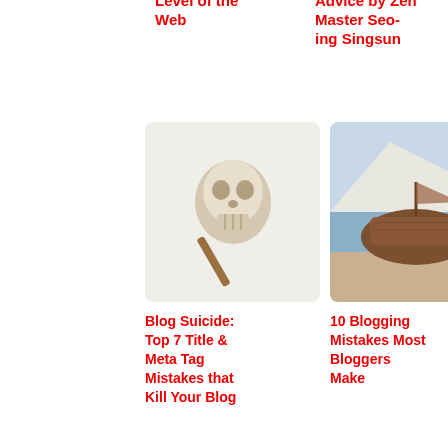Level of the Web
Advice by Zen Master Seo-ing Singsun
[Figure (photo): A skull with a stick or pen, white/light background]
Blog Suicide: Top 7 Title & Meta Tag Mistakes that Kill Your Blog
[Figure (photo): A shipwreck or old wooden boat beached near white cliffs]
10 Blogging Mistakes Most Bloggers Make
[Figure (illustration): Colorful social media flower/dot illustration on light blue background]
Why Social Media are Like